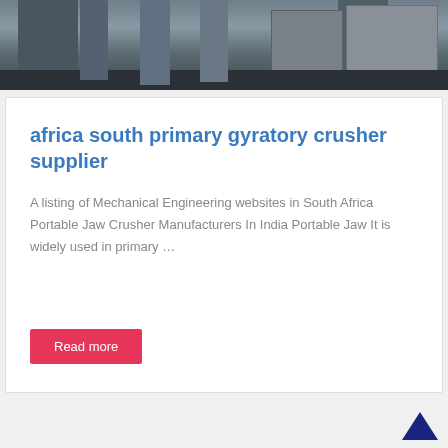[Figure (photo): Industrial/engineering scene showing people standing near machinery and equipment in a workshop or factory setting]
africa south primary gyratory crusher supplier
A listing of Mechanical Engineering websites in South Africa Portable Jaw Crusher Manufacturers In India Portable Jaw It is widely used in primary …
Read more